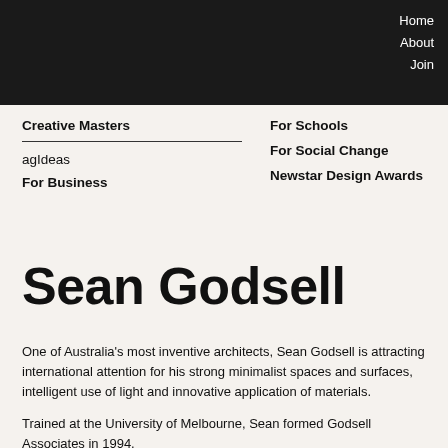Home
About
Join
Creative Masters
agIdeas
For Business
For Schools
For Social Change
Newstar Design Awards
Sean Godsell
One of Australia's most inventive architects, Sean Godsell is attracting international attention for his strong minimalist spaces and surfaces, intelligent use of light and innovative application of materials.
Trained at the University of Melbourne, Sean formed Godsell Associates in 1994.
He initially gained attention for his distinctive residential...